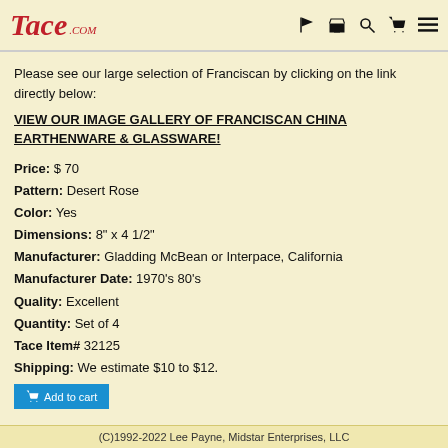TACE .COM
Please see our large selection of Franciscan by clicking on the link directly below:
VIEW OUR IMAGE GALLERY OF FRANCISCAN CHINA EARTHENWARE & GLASSWARE!
Price: $ 70
Pattern: Desert Rose
Color: Yes
Dimensions: 8" x 4 1/2"
Manufacturer: Gladding McBean or Interpace, California
Manufacturer Date: 1970's 80's
Quality: Excellent
Quantity: Set of 4
Tace Item# 32125
Shipping: We estimate $10 to $12.
(C)1992-2022 Lee Payne, Midstar Enterprises, LLC